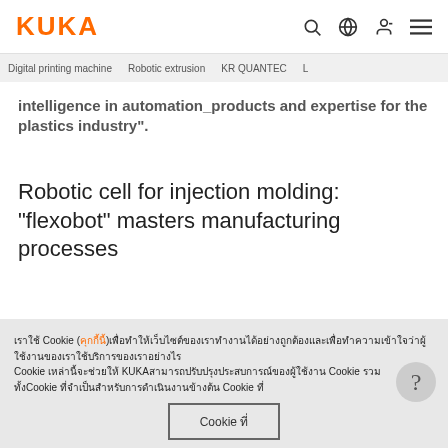KUKA
Digital printing machine   Robotic extrusion   KR QUANTEC
intelligence in automation_products and expertise for the plastics industry".
Robotic cell for injection molding: “flexobot” masters manufacturing processes
The flexobot robotic cell for...
เราใช้ Cookie (คุกกี้นี้)เพื่อทำให้เว็บไซต์ของเราทำงานได้อย่างถูกต้องและเพื่อทำความเข้าใจว่าผู้ใช้งานของเราใช้บริการของเราอย่างไร Cookie เหล่านี้จะช่วยให้ KUKAสามารถปรับปรุงประสบการณ์ของผู้ใช้งาน Cookieรวม ทั้งCookie ที่จำเป็นสำหรับการดำเนินงานข้างต้น Cookie ที่